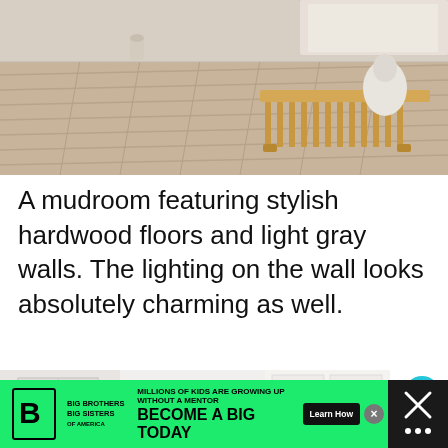[Figure (photo): A mudroom interior with light hardwood floors and a wooden slatted bench with a white ceramic boot/vase on top. Light gray walls and a small round candle in the background.]
A mudroom featuring stylish hardwood floors and light gray walls. The lighting on the wall looks absolutely charming as well.
[Figure (photo): A modern white mudroom/entryway with white cabinetry, a grid-pattern mirror or window frame on the wall, and white built-in storage cabinets on the right. A dark X close button and share button and heart/like button (1.2K likes) are overlaid on the right side.]
[Figure (infographic): Advertisement banner: Big Brothers Big Sisters of America. Green background with text 'MILLIONS OF KIDS ARE GROWING UP WITHOUT A MENTOR. BECOME A BIG TODAY' with a Learn How button.]